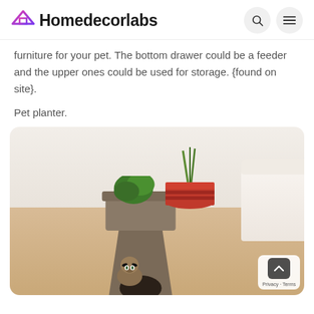Homedecorlabs
furniture for your pet. The bottom drawer could be a feeder and the upper ones could be used for storage. {found on site}.
Pet planter.
[Figure (photo): A cat sitting inside a modern sculptural pet planter/shelter made of dark taupe material with green plants on top, placed in a living room with a white couch and wooden floor.]